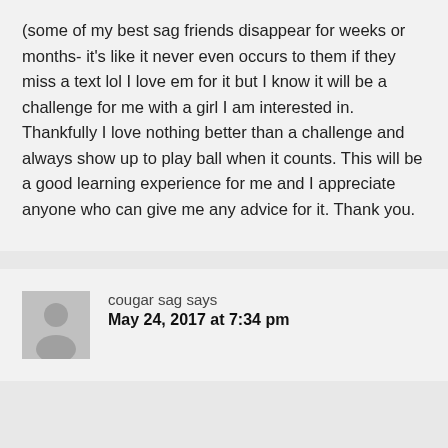(some of my best sag friends disappear for weeks or months- it's like it never even occurs to them if they miss a text lol I love em for it but I know it will be a challenge for me with a girl I am interested in. Thankfully I love nothing better than a challenge and always show up to play ball when it counts. This will be a good learning experience for me and I appreciate anyone who can give me any advice for it. Thank you.
cougar sag says
May 24, 2017 at 7:34 pm